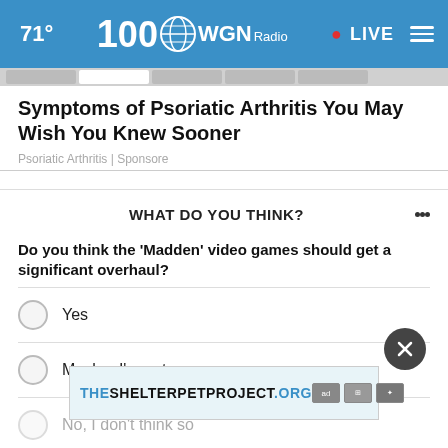71° WGN Radio LIVE
[Figure (screenshot): Navigation tab strip below header]
Symptoms of Psoriatic Arthritis You May Wish You Knew Sooner
Psoriatic Arthritis | Sponsore
WHAT DO YOU THINK?
Do you think the 'Madden' video games should get a significant overhaul?
Yes
Maybe, I'm not sure
No, I don't think so
O
[Figure (infographic): Ad banner: THESHELTERPETPROJECT.ORG with ad icons]